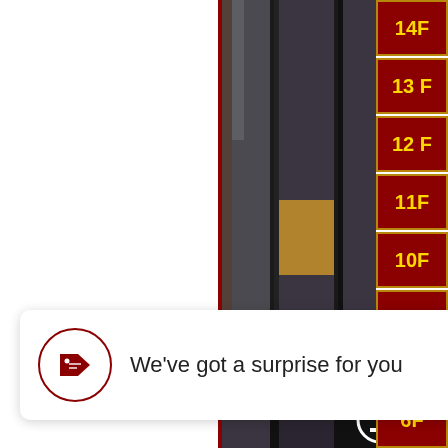[Figure (photo): Close-up photo of decorative door panels with dark wood grain textures in grey and brown tones, with a red panel on the right side and a small gold/yellow decorative element visible in the middle]
14F
13 F
12 F
11F
10F
9F
6F
We've got a surprise for you